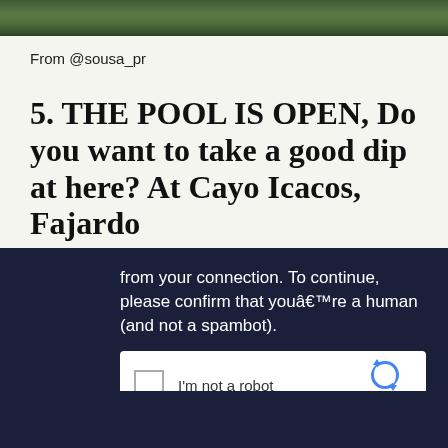[Figure (photo): Green nature/foliage photo strip at the top of the page]
From @sousa_pr
5. THE POOL IS OPEN, Do you want to take a good dip at here? At Cayo Icacos, Fajardo
[Figure (screenshot): Dark navy CAPTCHA overlay showing reCAPTCHA widget with text: 'from your connection. To continue, please confirm that youâ€™re a human (and not a spambot).' and an 'I'm not a robot' checkbox with reCAPTCHA logo]